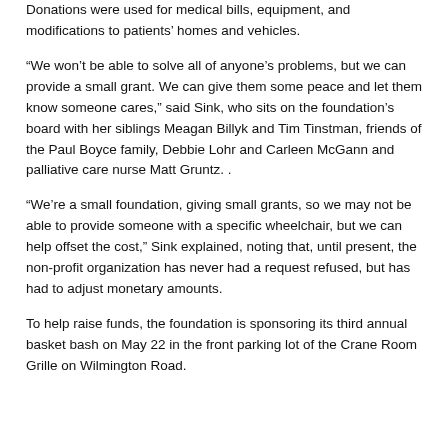Donations were used for medical bills, equipment, and modifications to patients' homes and vehicles.
“We won’t be able to solve all of anyone’s problems, but we can provide a small grant. We can give them some peace and let them know someone cares,” said Sink, who sits on the foundation’s board with her siblings Meagan Billyk and Tim Tinstman, friends of the Paul Boyce family, Debbie Lohr and Carleen McGann and palliative care nurse Matt Gruntz. .
“We’re a small foundation, giving small grants, so we may not be able to provide someone with a specific wheelchair, but we can help offset the cost,” Sink explained, noting that, until present, the non-profit organization has never had a request refused, but has had to adjust monetary amounts.
To help raise funds, the foundation is sponsoring its third annual basket bash on May 22 in the front parking lot of the Crane Room Grille on Wilmington Road.